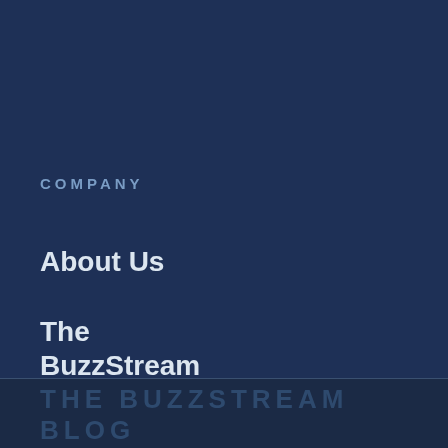COMPANY
About Us
The BuzzStream Blog
THE BUZZSTREAM BLOG